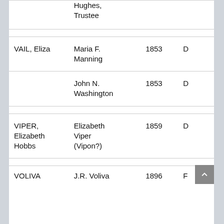|  | Hughes, Trustee |  |  |
|  |  |  |  |
| VAIL, Eliza | Maria F. Manning | 1853 | D |
|  | John N. Washington | 1853 | D |
|  |  |  |  |
| VIPER, Elizabeth Hobbs | Elizabeth Viper (Vipon?) | 1859 | D |
|  |  |  |  |
| VOLIVA | J.R. Voliva | 1896 | F |